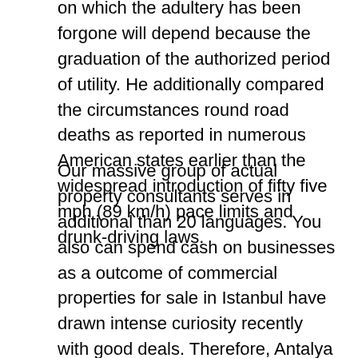on which the adultery has been forgone will depend because the graduation of the authorized period of utility. He additionally compared the circumstances round road deaths as reported in numerous American states earlier than the widespread introduction of fifty five mph (89 km/h) pace limits and drunk-driving laws.
Our massive group of actual property consultants serves in additional than 20 languages. You also can spend cash on businesses as a outcome of commercial properties for sale in Istanbul have drawn intense curiosity recently with good deals. Therefore, Antalya Homes has been famous and recommended among overseas property patrons. You can take a satisfying return on your actual property funding. The consultants have accomplished the true estate shopping for course of for thousands of abroad property buyers with none failure. Ourlawyers' objective is to protect the private pursuits of our shoppers in Turkey, based mostly on our strong